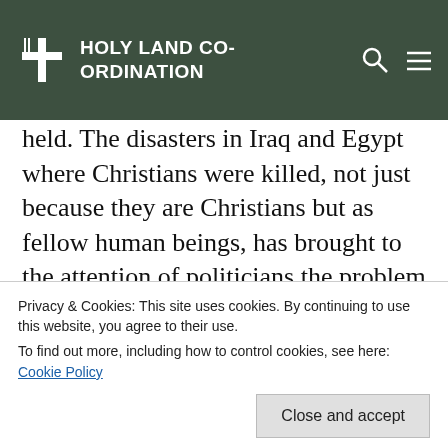HOLY LAND CO-ORDINATION
held. The disasters in Iraq and Egypt where Christians were killed, not just because they are Christians but as fellow human beings, has brought to the attention of politicians the problem of fanaticism that prevents reconciliation, peace and co-existence.
“Our role is vital as it is to communicate the incarnate love of our Lord. Love can overcome obstacles and reach out to the heart of enemies.
Privacy & Cookies: This site uses cookies. By continuing to use this website, you agree to their use.
To find out more, including how to control cookies, see here: Cookie Policy